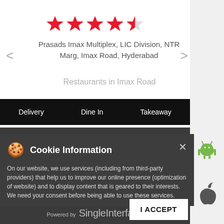[Figure (other): Star rating showing 4.5 stars out of 5 in red]
Prasads Imax Multiplex, LIC Division, NTR Marg, Imax Road, Hyderabad
Restaurants in Imax Road
[Figure (other): Navigation bar with Delivery, Dine In, Takeaway options on black background]
[Figure (other): Android app icon on right sidebar]
[Figure (other): Apple app icon on right sidebar]
Cookie Information
On our website, we use services (including from third-party providers) that help us to improve our online presence (optimization of website) and to display content that is geared to their interests. We need your consent before being able to use these services.
© COPYRIGHT 2021 KFC. ALL RIGHTS RESERVED.
Powered by SingleInterface
[Figure (other): I ACCEPT button for cookie consent]